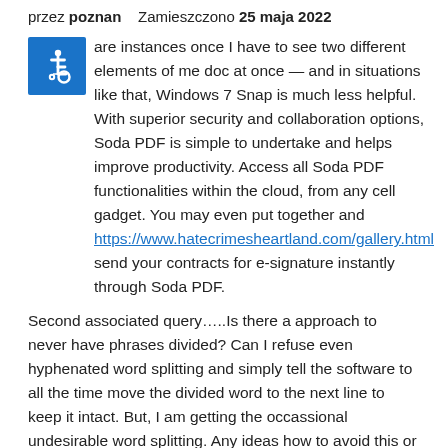przez poznan   Zamieszczono 25 maja 2022
[Figure (logo): Blue square accessibility icon with wheelchair symbol in white]
are instances once I have to see two different elements of me doc at once — and in situations like that, Windows 7 Snap is much less helpful. With superior security and collaboration options, Soda PDF is simple to undertake and helps improve productivity. Access all Soda PDF functionalities within the cloud, from any cell gadget. You may even put together and https://www.hatecrimesheartland.com/gallery.html send your contracts for e-signature instantly through Soda PDF.
Second associated query…..Is there a approach to never have phrases divided? Can I refuse even hyphenated word splitting and simply tell the software to all the time move the divided word to the next line to keep it intact. But, I am getting the occassional undesirable word splitting. Any ideas how to avoid this or no less than have it hyphenated if I am inventory with it.